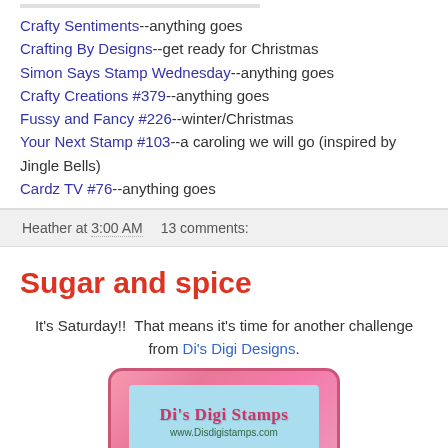Crafty Sentiments--anything goes
Crafting By Designs--get ready for Christmas
Simon Says Stamp Wednesday--anything goes
Crafty Creations #379--anything goes
Fussy and Fancy #226--winter/Christmas
Your Next Stamp #103--a caroling we will go (inspired by Jingle Bells)
Cardz TV #76--anything goes
Heather at 3:00 AM   13 comments:
Sugar and spice
It's Saturday!!  That means it's time for another challenge from Di's Digi Designs.
[Figure (logo): Di's Digi Stamps logo with pink scalloped border and teal/blue background, showing text 'Di's Digi Stamps' and URL www.Disdigistamps.com]